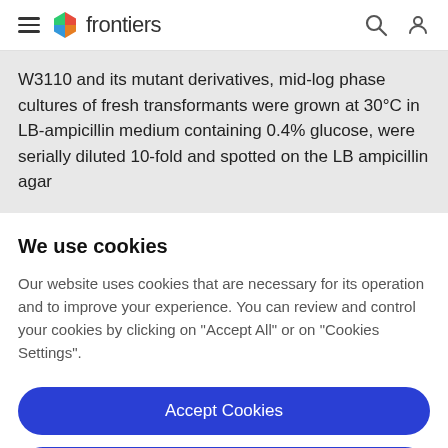frontiers
W3110 and its mutant derivatives, mid-log phase cultures of fresh transformants were grown at 30°C in LB-ampicillin medium containing 0.4% glucose, were serially diluted 10-fold and spotted on the LB ampicillin agar
We use cookies
Our website uses cookies that are necessary for its operation and to improve your experience. You can review and control your cookies by clicking on "Accept All" or on "Cookies Settings".
Accept Cookies
Cookies Settings